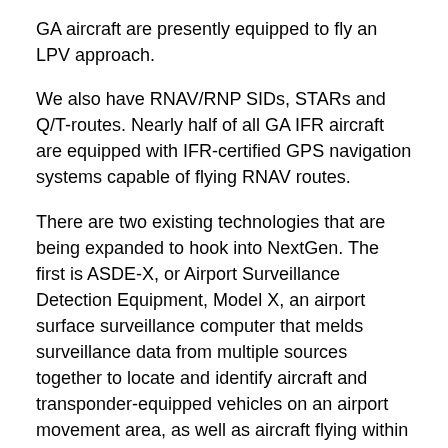GA aircraft are presently equipped to fly an LPV approach.
We also have RNAV/RNP SIDs, STARs and Q/T-routes. Nearly half of all GA IFR aircraft are equipped with IFR-certified GPS navigation systems capable of flying RNAV routes.
There are two existing technologies that are being expanded to hook into NextGen. The first is ASDE-X, or Airport Surveillance Detection Equipment, Model X, an airport surface surveillance computer that melds surveillance data from multiple sources together to locate and identify aircraft and transponder-equipped vehicles on an airport movement area, as well as aircraft flying within five miles of the airport.
While the most common input is radar, ASDE-X accepts input from multilateration pseudo-radar sensors (Colorado recently